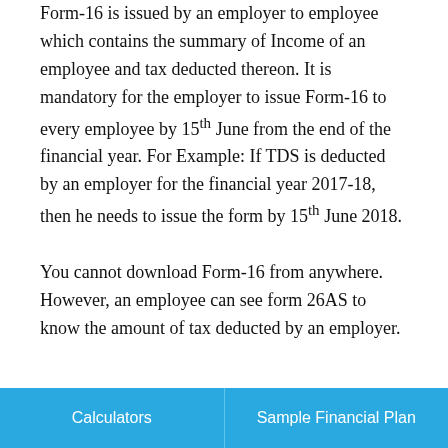Form-16 is issued by an employer to employee which contains the summary of Income of an employee and tax deducted thereon. It is mandatory for the employer to issue Form-16 to every employee by 15th June from the end of the financial year. For Example: If TDS is deducted by an employer for the financial year 2017-18, then he needs to issue the form by 15th June 2018.
You cannot download Form-16 from anywhere. However, an employee can see form 26AS to know the amount of tax deducted by an employer.
Calculators | Sample Financial Plan